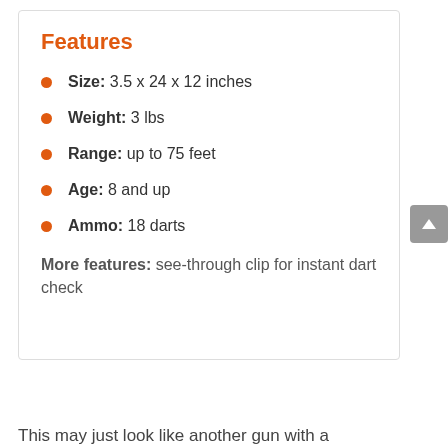Features
Size: 3.5 x 24 x 12 inches
Weight: 3 lbs
Range: up to 75 feet
Age: 8 and up
Ammo: 18 darts
More features: see-through clip for instant dart check
This may just look like another gun with a